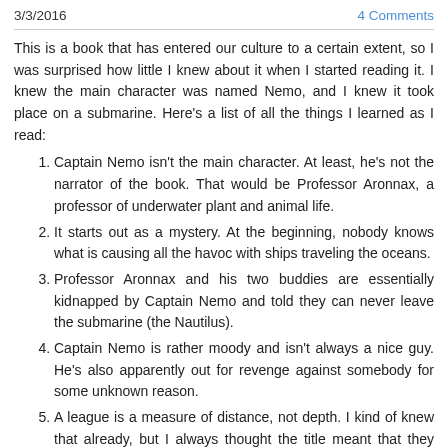3/3/2016    4 Comments
This is a book that has entered our culture to a certain extent, so I was surprised how little I knew about it when I started reading it. I knew the main character was named Nemo, and I knew it took place on a submarine. Here's a list of all the things I learned as I read:
Captain Nemo isn't the main character. At least, he's not the narrator of the book. That would be Professor Aronnax, a professor of underwater plant and animal life.
It starts out as a mystery. At the beginning, nobody knows what is causing all the havoc with ships traveling the oceans.
Professor Aronnax and his two buddies are essentially kidnapped by Captain Nemo and told they can never leave the submarine (the Nautilus).
Captain Nemo is rather moody and isn't always a nice guy. He's also apparently out for revenge against somebody for some unknown reason.
A league is a measure of distance, not depth. I kind of knew that already, but I always thought the title meant that they were 20,000 leagues underneath the surface of the ocean. Turns out